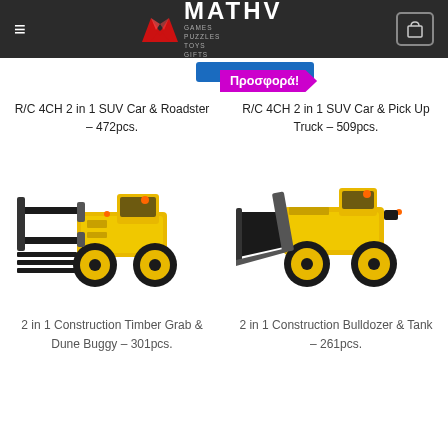MATHV - GAMES PUZZLES TOYS GIFTS
Προσφορά!
R/C 4CH 2 in 1 SUV Car & Roadster – 472pcs.
R/C 4CH 2 in 1 SUV Car & Pick Up Truck – 509pcs.
[Figure (photo): Yellow and black construction toy vehicle - Timber Grab variant]
[Figure (photo): Yellow and black construction toy vehicle - Bulldozer variant]
2 in 1 Construction Timber Grab & Dune Buggy – 301pcs.
2 in 1 Construction Bulldozer & Tank – 261pcs.